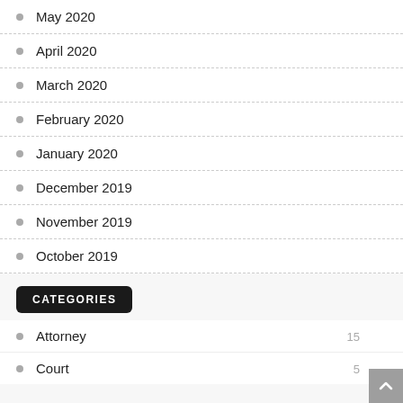May 2020
April 2020
March 2020
February 2020
January 2020
December 2019
November 2019
October 2019
CATEGORIES
Attorney
Court